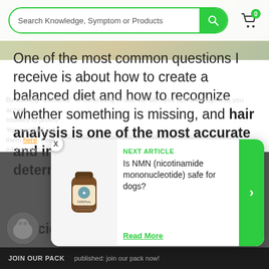Search Knowledge, Symptom or Products
One of the most common questions I receive is about how to create a balanced diet and how to recognize whether something is missing, and hair analysis is one of the most accurate and inexpensive methods to determine if there are any mineral deficiencies.
By clicking "Continue" or continuing to use our site, you acknowledge that you accept our use of cookies to provide you with relevant content. You can find out how to manage them here. Feel free to continue for more information.
[Figure (screenshot): Next article popup card showing NMN supplement bottle image, with title 'Is NMN (nicotinamide mononucleotide) safe for dogs?' and a Read More link with green arrow button]
NEXT ARTICLE
Is NMN (nicotinamide mononucleotide) safe for dogs?
Read More
JOIN OUR PACK    published: join our pack now!